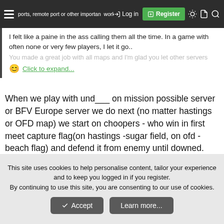ports, remote port or other important work after their upgrades. [Log in] [Register]
I felt like a paine in the ass calling them all the time. In a game with often none or very few players, I let it go..
You made a great job with all maps and I'm glad you let other servers
Click to expand...
When we play with und___ on mission possible server or BFV Europe server we do next (no matter hastings or OFD map) we start on choopers - who win in first meet capture flag(on hastings -sugar field, on ofd - beach flag) and defend it from enemy until downed. Then spawn on flag with law/rpg and defend it by foot from enemy heli until lost flag. and then roles change - it quete fun and sometime not so easy take enemy flag even when you in heli. ofc miniguns helps a lot to defend. do it on default server it will be problematic.
This site uses cookies to help personalise content, tailor your experience and to keep you logged in if you register.
By continuing to use this site, you are consenting to our use of cookies.